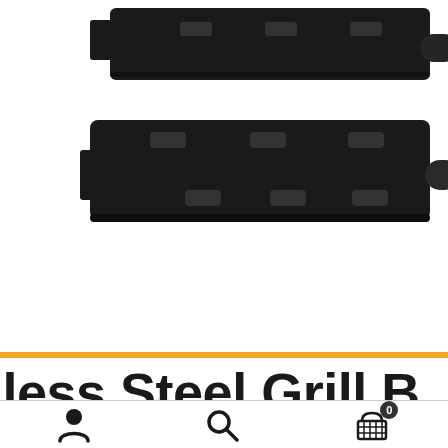[Figure (photo): Two black cast iron or porcelain-coated grill burner covers/heat plates stacked, showing rectangular shape with multiple small raised slots/holes on top surface, photographed against white background]
nless Steel Grill B
[Figure (infographic): Bottom navigation bar with user/account icon, search magnifying glass icon, and shopping cart icon with badge showing 0 items]